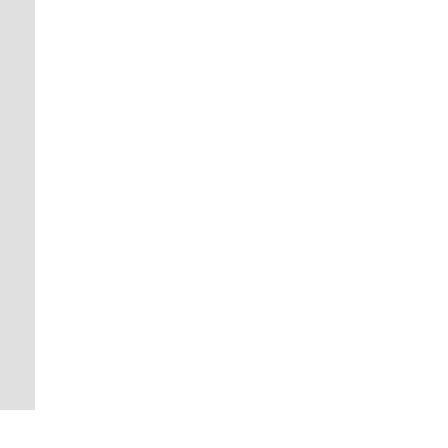Advantages:
Capacitive load e... typical of telecom...
Capacitive load b... power factors. In ... to increase the po...
Capacitive load e... voltage regulating...
Disadvantages:
It has a higher co...
[Figure (illustration): Green circular up-arrow navigation button]